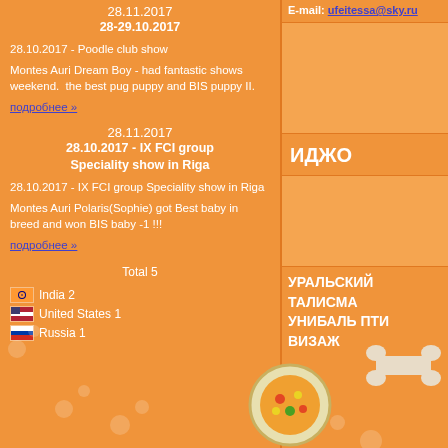28.11.2017
28-29.10.2017
28.10.2017 - Poodle club show
Montes Auri Dream Boy - had fantastic shows weekend.  the best pug puppy and BIS puppy II.
подробнее »
28.11.2017
28.10.2017 - IX FCI group Speciality show in Riga
28.10.2017 - IX FCI group Speciality show in Riga
Montes Auri Polaris(Sophie) got Best baby in breed and won BIS baby -1 !!!
подробнее »
Total 5
India 2
United States 1
Russia 1
E-mail: ufeitessa@sky.ru
ИДЖО
УРАЛЬСКИЙ ТАЛИСМА УНИБАЛЬ ПТИ ВИЗАЖ